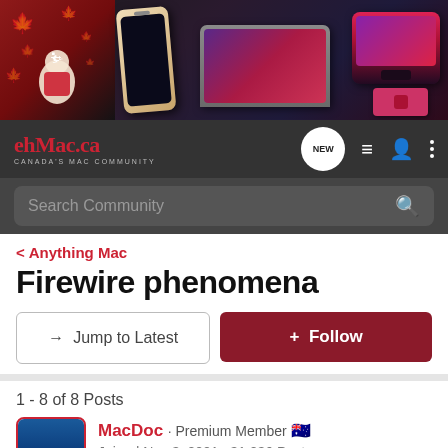[Figure (screenshot): ehMac.ca website header banner showing Apple products (iPhone, MacBook, iMac) on dark background with Canadian mascot and maple leaves]
ehMac.ca CANADA'S MAC COMMUNITY — navigation bar with NEW button, list icon, user icon, menu icon
Search Community
< Anything Mac
Firewire phenomena
→ Jump to Latest
+ Follow
1 - 8 of 8 Posts
MacDoc · Premium Member 🇦🇺
Joined Nov 3, 2001 · 31,036 Posts